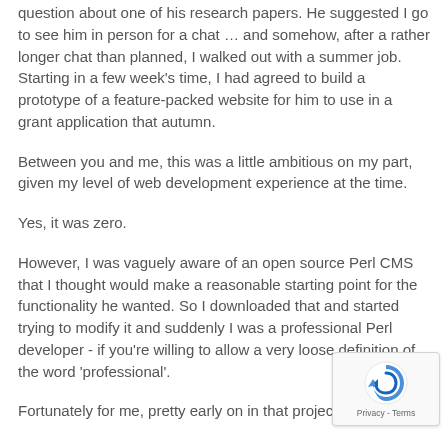question about one of his research papers. He suggested I go to see him in person for a chat ... and somehow, after a rather longer chat than planned, I walked out with a summer job. Starting in a few week's time, I had agreed to build a prototype of a feature-packed website for him to use in a grant application that autumn.
Between you and me, this was a little ambitious on my part, given my level of web development experience at the time.
Yes, it was zero.
However, I was vaguely aware of an open source Perl CMS that I thought would make a reasonable starting point for the functionality he wanted. So I downloaded that and started trying to modify it and suddenly I was a professional Perl developer - if you're willing to allow a very loose definition of the word 'professional'.
Fortunately for me, pretty early on in that project I stumbled